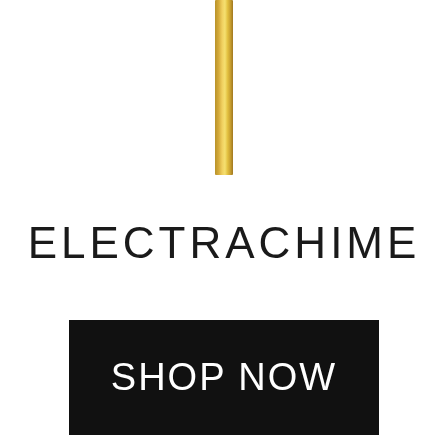[Figure (illustration): A vertical gold/brass cylindrical rod or pendant, partially cropped at the top, centered horizontally on a white background]
ELECTRACHIME
SHOP NOW